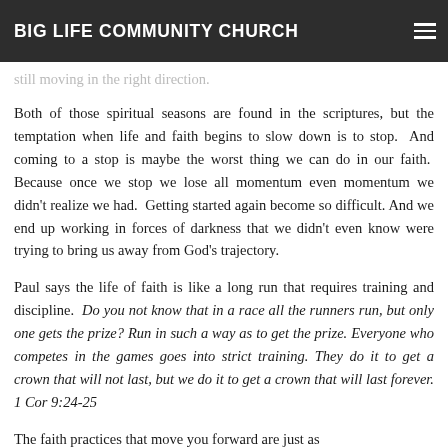BIG LIFE COMMUNITY CHURCH
still moving in the right direction.
Both of those spiritual seasons are found in the scriptures, but the temptation when life and faith begins to slow down is to stop. And coming to a stop is maybe the worst thing we can do in our faith. Because once we stop we lose all momentum even momentum we didn't realize we had. Getting started again become so difficult. And we end up working in forces of darkness that we didn't even know were trying to bring us away from God's trajectory.
Paul says the life of faith is like a long run that requires training and discipline. Do you not know that in a race all the runners run, but only one gets the prize? Run in such a way as to get the prize. Everyone who competes in the games goes into strict training. They do it to get a crown that will not last, but we do it to get a crown that will last forever. 1 Cor 9:24-25
The faith practices that move you forward are just as